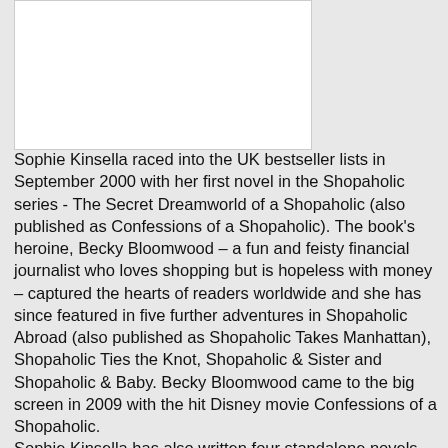[Figure (photo): White rectangular image area at the top left of the page]
Sophie Kinsella raced into the UK bestseller lists in September 2000 with her first novel in the Shopaholic series - The Secret Dreamworld of a Shopaholic (also published as Confessions of a Shopaholic). The book's heroine, Becky Bloomwood – a fun and feisty financial journalist who loves shopping but is hopeless with money – captured the hearts of readers worldwide and she has since featured in five further adventures in Shopaholic Abroad (also published as Shopaholic Takes Manhattan), Shopaholic Ties the Knot, Shopaholic & Sister and Shopaholic & Baby. Becky Bloomwood came to the big screen in 2009 with the hit Disney movie Confessions of a Shopaholic.
Sophie Kinsella has also written four standalone novels which have all been number one bestsellers: Can You Keep A Secret?, The Undomestic Goddess, Remember Me? and Twenties Girl.
Sophie wrote her first novel under her real name, Madeleine Wickham, at the tender age of 24, whilst she was working as